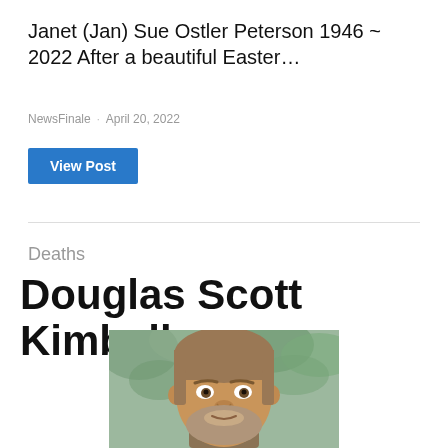Janet (Jan) Sue Ostler Peterson 1946 ~ 2022 After a beautiful Easter…
NewsFinale · April 20, 2022
View Post
Deaths
Douglas Scott Kimball
[Figure (photo): Portrait photo of Douglas Scott Kimball, a middle-aged man with reddish-brown hair and a beard, smiling slightly, with blurred greenery in the background.]